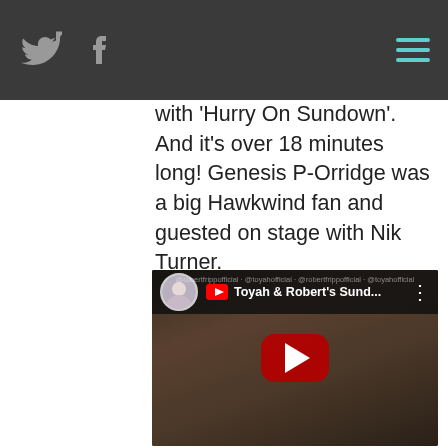Twitter icon, Facebook icon, Hamburger menu
with 'Hurry On Sundown'. And it's over 18 minutes long! Genesis P-Orridge was a big Hawkwind fan and guested on stage with Nik Turner.
[Figure (screenshot): YouTube video embed thumbnail showing Toyah & Robert's Sund... with a red play button overlay and two people visible in the background. Channel avatar shown in top-left corner.]
Toyah Wilcox & Robert Fripp (2021)
Oh dear god. If you can wrench your eyes away from Toyah (who collaborated with Keith Hale if you